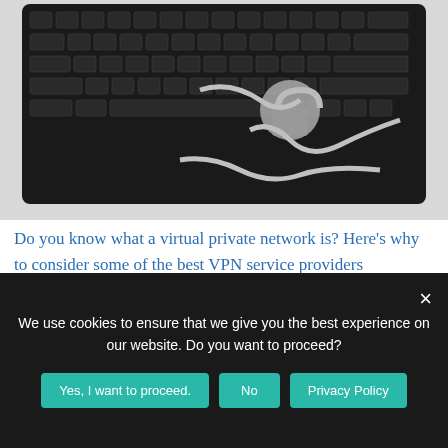[Figure (photo): A black computer keyboard wrapped in a metal chain and padlock against a white background, symbolizing cybersecurity or internet restrictions.]
Do you know what a virtual private network is? Here’s why to consider some of the best VPN service providers
[Figure (photo): Close-up photo of green guava fruits hanging on a tree branch, with leaves visible.]
We use cookies to ensure that we give you the best experience on our website. Do you want to proceed?
Yes, I want to proceed.
No
Privacy Policy